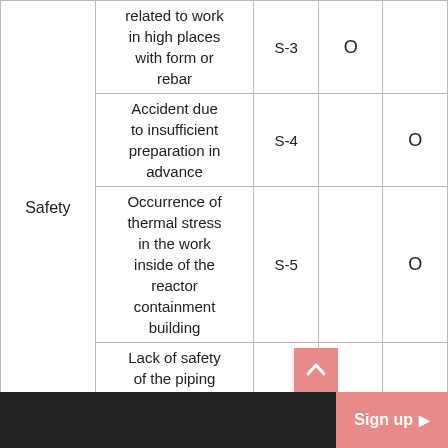| Category | Description | Code |  |  |
| --- | --- | --- | --- | --- |
| Safety | related to work in high places with form or rebar | S-3 | O |  |
|  | Accident due to insufficient preparation in advance | S-4 |  | O |
|  | Occurrence of thermal stress in the work inside of the reactor containment building | S-5 |  | O |
|  | Lack of safety of the piping within the |  |  |  |
Sign up ▶